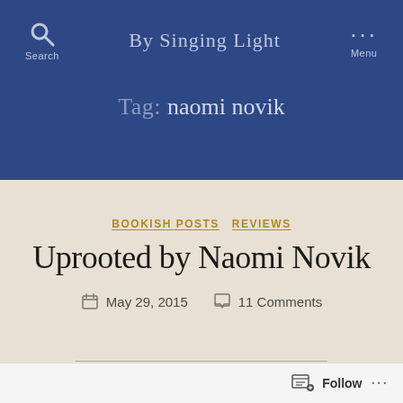By Singing Light
Tag: naomi novik
BOOKISH POSTS   REVIEWS
Uprooted by Naomi Novik
May 29, 2015   11 Comments